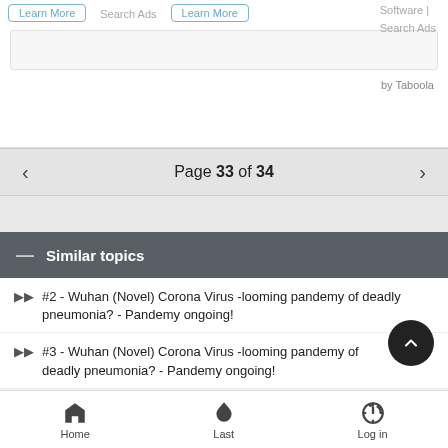[Figure (screenshot): Top advertisement area showing Learn More buttons, Search Ads text, and 'by Taboola' attribution with a light gray inner box]
Page 33 of 34
Similar topics
#2 - Wuhan (Novel) Corona Virus -looming pandemy of deadly pneumonia? - Pandemy ongoing!
#3 - Wuhan (Novel) Corona Virus -looming pandemy of deadly pneumonia? - Pandemy ongoing!
Home   Last   Log in